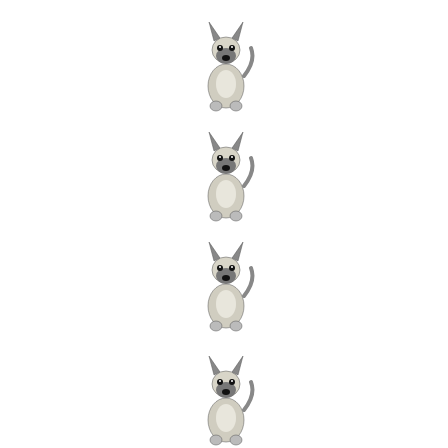[Figure (infographic): Four husky/wolf dog icons arranged vertically in a column, each approximately the same size, followed by a black plus sign symbol below them. Below a horizontal divider line is a partial photograph of a person (face/head) with dark hair against a green background.]